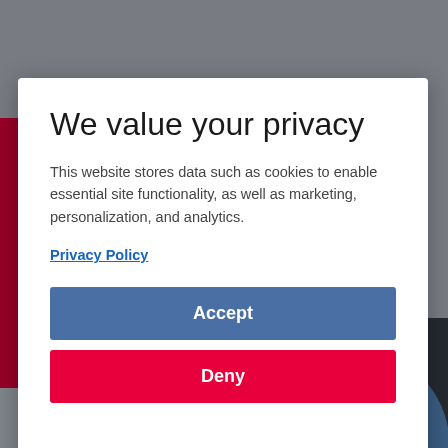[Figure (screenshot): Website background partially visible behind modal overlay, showing a grey page with a red vertical bar on the left and a building/arch image at the bottom]
We value your privacy
This website stores data such as cookies to enable essential site functionality, as well as marketing, personalization, and analytics.
Privacy Policy
Accept
Deny